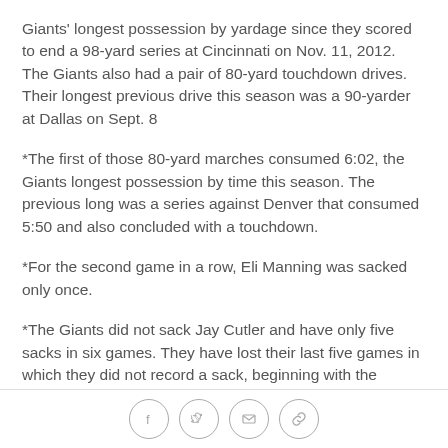Giants' longest possession by yardage since they scored to end a 98-yard series at Cincinnati on Nov. 11, 2012. The Giants also had a pair of 80-yard touchdown drives. Their longest previous drive this season was a 90-yarder at Dallas on Sept. 8
*The first of those 80-yard marches consumed 6:02, the Giants longest possession by time this season. The previous long was a series against Denver that consumed 5:50 and also concluded with a touchdown.
*For the second game in a row, Eli Manning was sacked only once.
*The Giants did not sack Jay Cutler and have only five sacks in six games. They have lost their last five games in which they did not record a sack, beginning with the
[social share icons: Facebook, Twitter, Email, Link]